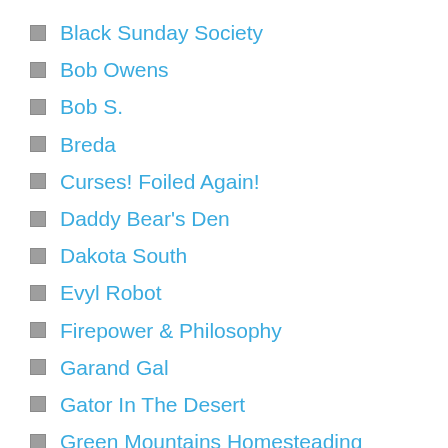Black Sunday Society
Bob Owens
Bob S.
Breda
Curses! Foiled Again!
Daddy Bear's Den
Dakota South
Evyl Robot
Firepower & Philosophy
Garand Gal
Gator In The Desert
Green Mountains Homesteading
Gun Geek Rants